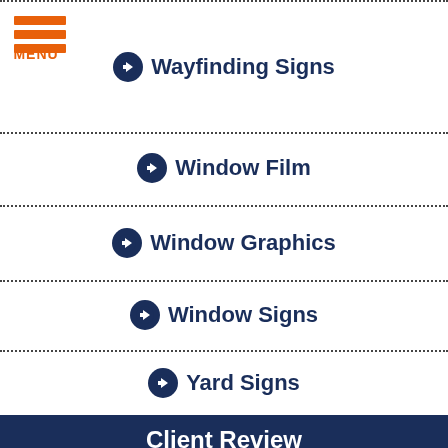MENU
Wayfinding Signs
Window Film
Window Graphics
Window Signs
Yard Signs
Client Review
Great customer service.
Great customer service and all signage customized in accordance with my order. Turnaroun...